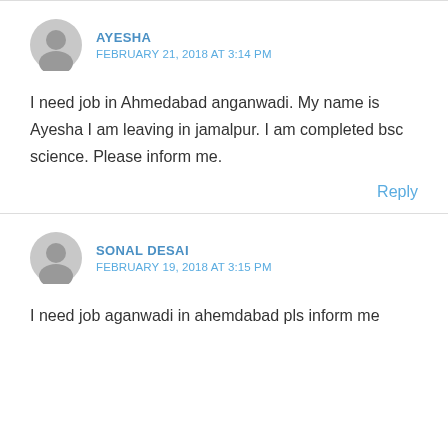AYESHA
FEBRUARY 21, 2018 AT 3:14 PM
I need job in Ahmedabad anganwadi. My name is Ayesha I am leaving in jamalpur. I am completed bsc science. Please inform me.
Reply
SONAL DESAI
FEBRUARY 19, 2018 AT 3:15 PM
I need job aganwadi in ahemdabad pls inform me